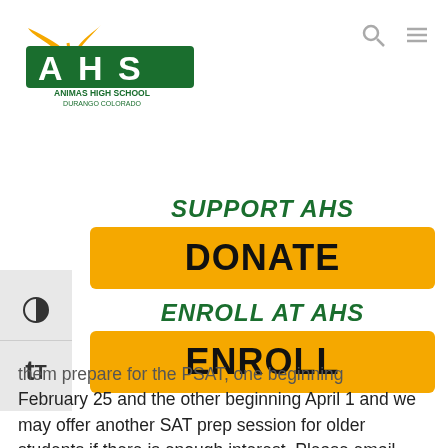[Figure (logo): Animas High School logo with stylized AHS letters in green and gold leaf icon, text reads ANIMAS HIGH SCHOOL DURANGO COLORADO]
SUPPORT AHS
DONATE
ENROLL AT AHS
ENROLL
them prepare for the PSAT, one beginning February 25 and the other beginning April 1 and we may offer another SAT prep session for older students if there is enough interest. Please email sean.woytek@animashighschool.com to reserve